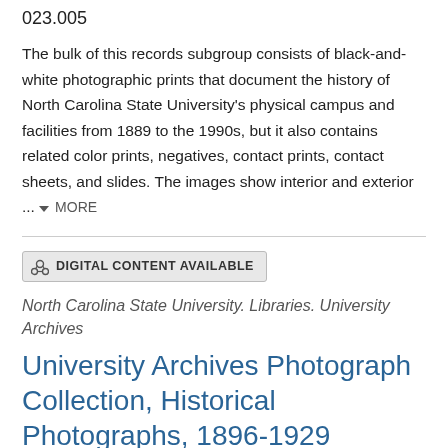023.005
The bulk of this records subgroup consists of black-and-white photographic prints that document the history of North Carolina State University’s physical campus and facilities from 1889 to the 1990s, but it also contains related color prints, negatives, contact prints, contact sheets, and slides. The images show interior and exterior ... ▾ MORE
DIGITAL CONTENT AVAILABLE
North Carolina State University. Libraries. University Archives
University Archives Photograph Collection, Historical Photographs, 1896-1929
SIZE: 0.5 linear feet (1 archival legal box)  COLLECTION ID: UA